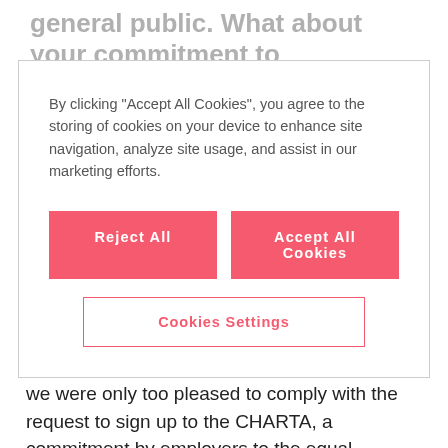general public. What about your commitment to
By clicking “Accept All Cookies”, you agree to the storing of cookies on your device to enhance site navigation, analyze site usage, and assist in our marketing efforts.
Reject All
Accept All Cookies
Cookies Settings
years. Like many of my colleagues at Axpo, I always volunteer at this event. However, I feel it is equally important for Axpo to employ a variety of people with disabilities. Therefore, we were only too pleased to comply with the request to sign up to the CHARTA, a commitment by employers to the equal treatment and integration of people with disabilities at work.